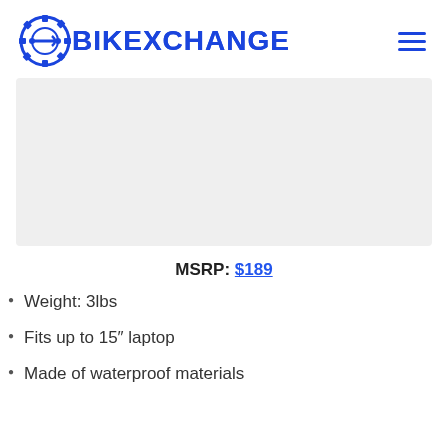BIKEXCHANGE
[Figure (photo): Product image placeholder area with light gray background]
MSRP: $189
Weight: 3lbs
Fits up to 15" laptop
Made of waterproof materials